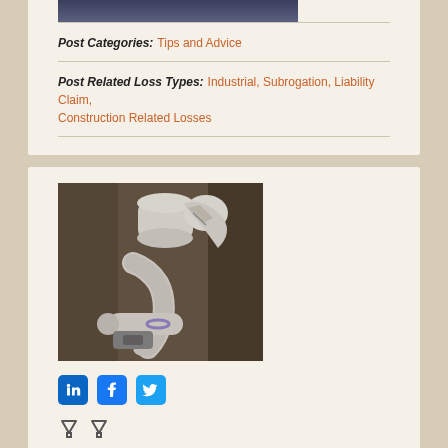[Figure (photo): Partial view of a person (cropped, only bottom of face/neck visible) in a dark jacket]
Post Categories: Tips and Advice
Post Related Loss Types: Industrial, Subrogation, Liability Claim, Construction Related Losses
[Figure (photo): Close-up photo of broken/cracked white PVC pipes and fittings in various states of damage]
[Figure (infographic): Social share buttons: LinkedIn, Facebook, Twitter]
[Figure (infographic): Two downward arrow icons]
How Long Before the Pipes